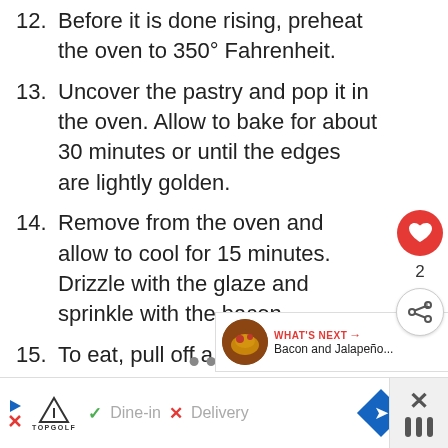12. Before it is done rising, preheat the oven to 350° Fahrenheit.
13. Uncover the pastry and pop it in the oven. Allow to bake for about 30 minutes or until the edges are lightly golden.
14. Remove from the oven and allow to cool for 15 minutes. Drizzle with the glaze and sprinkle with the bacon.
15. To eat, pull off a twisted "arm."